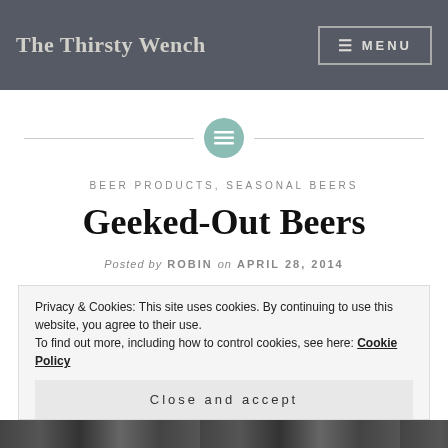The Thirsty Wench
MENU
[Figure (other): Horizontal divider with teal circle icon containing lines/menu symbol]
BEER PRODUCTS, SEASONAL BEERS
Geeked-Out Beers
Posted by ROBIN on APRIL 28, 2014
Privacy & Cookies: This site uses cookies. By continuing to use this website, you agree to their use.
To find out more, including how to control cookies, see here: Cookie Policy
Close and accept
[Figure (photo): Bottom image strip showing partial photos in black and white]